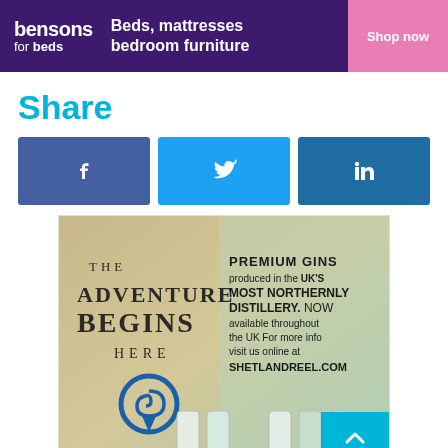[Figure (infographic): Bensons for beds banner advertisement: purple background with white text 'bensons for beds', 'Beds, mattresses bedroom furniture', and a pink 'Shop now' button on the right.]
Share
[Figure (infographic): Three social media share buttons in a row: Facebook (dark blue), Twitter (light blue), LinkedIn (dark blue), each with white logo icons.]
[Figure (infographic): Shetland Reel gin advertisement: 'THE ADVENTURE BEGINS HERE' on left with blue spiral location pin logo, 'PREMIUM GINS produced in the UK'S MOST NORTHERNLY DISTILLERY. NOW available throughout the UK For more info visit us online at SHETLANDREEL.COM' on right. Several gin bottles visible at bottom.]